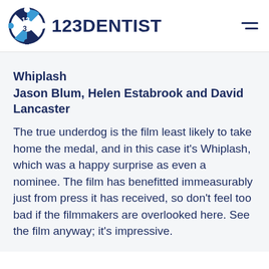123DENTIST
Whiplash
Jason Blum, Helen Estabrook and David Lancaster
The true underdog is the film least likely to take home the medal, and in this case it's Whiplash, which was a happy surprise as even a nominee. The film has benefitted immeasurably just from press it has received, so don't feel too bad if the filmmakers are overlooked here. See the film anyway; it's impressive.